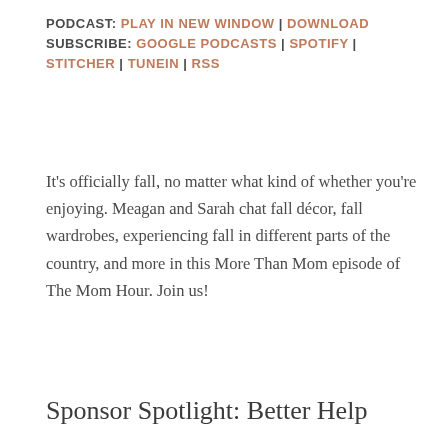PODCAST: PLAY IN NEW WINDOW | DOWNLOAD
SUBSCRIBE: GOOGLE PODCASTS | SPOTIFY | STITCHER | TUNEIN | RSS
It's officially fall, no matter what kind of whether you're enjoying. Meagan and Sarah chat fall décor, fall wardrobes, experiencing fall in different parts of the country, and more in this More Than Mom episode of The Mom Hour. Join us!
Sponsor Spotlight: Better Help